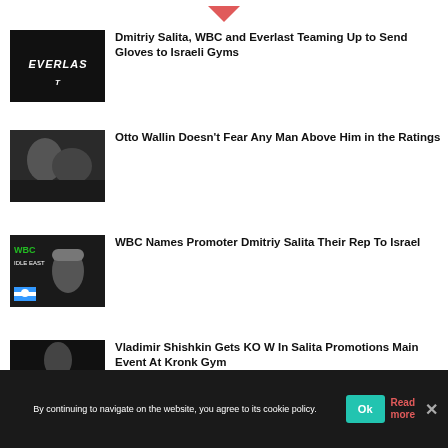[Figure (illustration): Downward chevron/arrow icon at top center]
[Figure (photo): Everlast boxing brand logo/clothing on black background]
Dmitriy Salita, WBC and Everlast Teaming Up to Send Gloves to Israeli Gyms
[Figure (photo): Two boxers sparring in a ring, action shot]
Otto Wallin Doesn’t Fear Any Man Above Him in the Ratings
[Figure (photo): Man in suit standing in front of WBC Middle East signage with Israeli flag]
WBC Names Promoter Dmitriy Salita Their Rep To Israel
[Figure (photo): Boxer posing in front of Kronk Gym branding]
Vladimir Shishkin Gets KO W In Salita Promotions Main Event At Kronk Gym
By continuing to navigate on the website, you agree to its cookie policy.